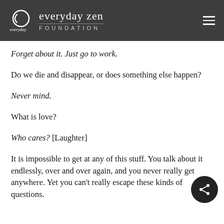everyday zen FOUNDATION
Forget about it. Just go to work.
Do we die and disappear, or does something else happen?
Never mind.
What is love?
Who cares? [Laughter]
It is impossible to get at any of this stuff. You talk about it endlessly, over and over again, and you never really get anywhere. Yet you can't really escape these kinds of questions.